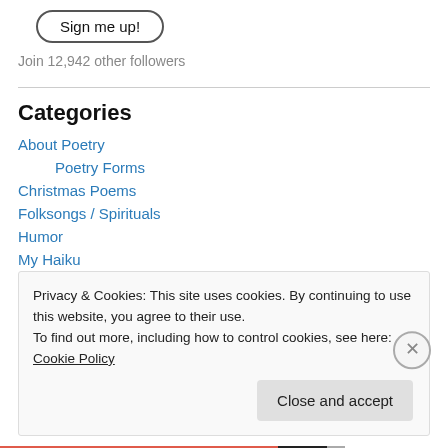[Figure (other): Sign me up! button with rounded pill border]
Join 12,942 other followers
Categories
About Poetry
Poetry Forms
Christmas Poems
Folksongs / Spirituals
Humor
My Haiku
Privacy & Cookies: This site uses cookies. By continuing to use this website, you agree to their use.
To find out more, including how to control cookies, see here: Cookie Policy
Close and accept